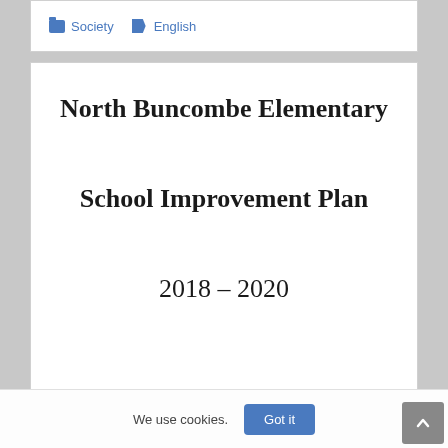Society  English
North Buncombe Elementary
School Improvement Plan
2018 – 2020
We use cookies.  Got it